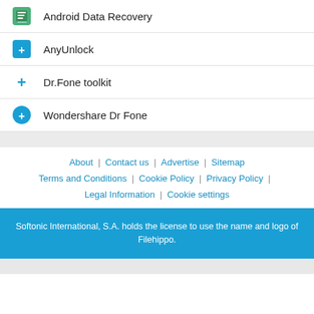Android Data Recovery
AnyUnlock
Dr.Fone toolkit
Wondershare Dr Fone
About | Contact us | Advertise | Sitemap
Terms and Conditions | Cookie Policy | Privacy Policy | Legal Information | Cookie settings
Softonic International, S.A. holds the license to use the name and logo of Filehippo.